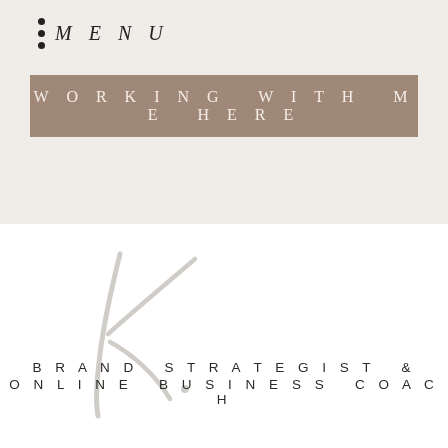MENU
WORKING WITH ME HERE
[Figure (logo): Large stylized letter K signature/monogram in light gray, resembling a handwritten script logo]
BRAND STRATEGIST & ONLINE BUSINESS COACH